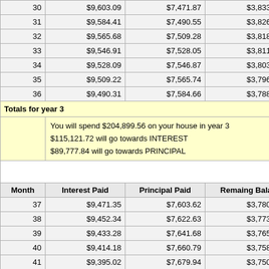| Month | Interest Paid | Principal Paid | Remaing Balance |
| --- | --- | --- | --- |
| 30 | $9,603.09 | $7,471.87 | $3,833,763.64 |
| 31 | $9,584.41 | $7,490.55 | $3,826,273.09 |
| 32 | $9,565.68 | $7,509.28 | $3,818,763.81 |
| 33 | $9,546.91 | $7,528.05 | $3,811,235.75 |
| 34 | $9,528.09 | $7,546.87 | $3,803,688.88 |
| 35 | $9,509.22 | $7,565.74 | $3,796,123.14 |
| 36 | $9,490.31 | $7,584.66 | $3,788,538.48 |
| Totals for year 3 |  |  |  |
|  | You will spend $204,899.56 on your house in year 3
$115,121.72 will go towards INTEREST
$89,777.84 will go towards PRINCIPAL |  |  |
|  |  |  |  |
| 37 | $9,471.35 | $7,603.62 | $3,780,934.87 |
| 38 | $9,452.34 | $7,622.63 | $3,773,312.24 |
| 39 | $9,433.28 | $7,641.68 | $3,765,670.56 |
| 40 | $9,414.18 | $7,660.79 | $3,758,009.77 |
| 41 | $9,395.02 | $7,679.94 | $3,750,329.83 |
| 42 | $9,375.82 | $7,699.14 | $3,742,630.69 |
| 43 | $9,356.58 | $7,718.39 | $3,734,912.31 |